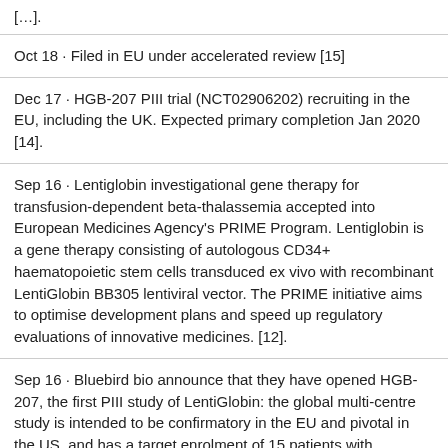[…].
Oct 18 · Filed in EU under accelerated review [15]
Dec 17 · HGB-207 PIII trial (NCT02906202) recruiting in the EU, including the UK. Expected primary completion Jan 2020 [14].
Sep 16 · Lentiglobin investigational gene therapy for transfusion-dependent beta-thalassemia accepted into European Medicines Agency's PRIME Program. Lentiglobin is a gene therapy consisting of autologous CD34+ haematopoietic stem cells transduced ex vivo with recombinant LentiGlobin BB305 lentiviral vector. The PRIME initiative aims to optimise development plans and speed up regulatory evaluations of innovative medicines. [12].
Sep 16 · Bluebird bio announce that they have opened HGB-207, the first PIII study of LentiGlobin: the global multi-centre study is intended to be confirmatory in the EU and pivotal in the US, and has a target enrolment of 15 patients with transfusion-dependent beta-thalassemia and non-ß0/ß0 genotypes; primary outcome is transfusion independence [11].